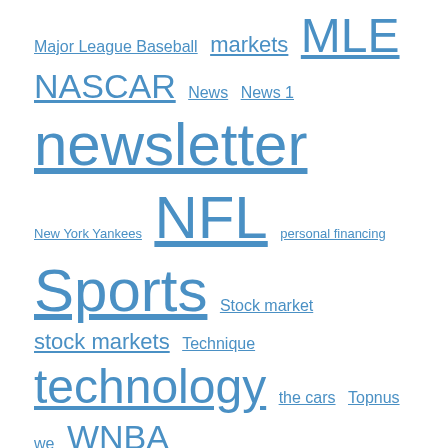Major League Baseball  markets  MLE  NASCAR  News  News 1  newsletter  New York Yankees  NFL  personal financing  Sports  Stock market  stock markets  Technique  technology  the cars  Topnus  we  WNBA
Contact Us
We use cookies on our website to give you the most relevant experience by remembering your preferences and repeat visits. By clicking “Accept All”, you consent to the use of ALL the cookies. However, you may visit "Cookie Settings" to provide a controlled consent.
Cookie Settings  Accept All